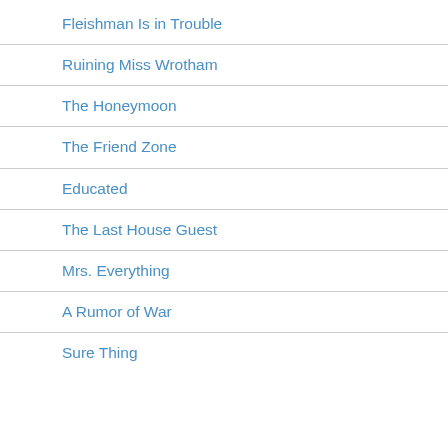Fleishman Is in Trouble
Ruining Miss Wrotham
The Honeymoon
The Friend Zone
Educated
The Last House Guest
Mrs. Everything
A Rumor of War
Sure Thing